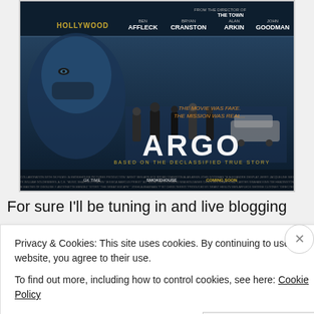[Figure (photo): Movie poster for ARGO (2012) directed by Ben Affleck. Dark teal-toned poster featuring Ben Affleck in foreground, group of people in background. Text reads: FROM THE DIRECTOR OF THE TOWN, HOLLYWOOD, BEN AFFLECK, BRYAN CRANSTON, ALAN ARKIN, JOHN GOODMAN. THE MOVIE WAS FAKE. THE MISSION WAS REAL. ARGO. BASED ON THE DECLASSIFIED TRUE STORY. WARNER BROS. PICTURES. SMOKEHOUSE. COMING SOON.]
For sure I'll be tuning in and live blogging
Privacy & Cookies: This site uses cookies. By continuing to use this website, you agree to their use.
To find out more, including how to control cookies, see here: Cookie Policy
Close and accept